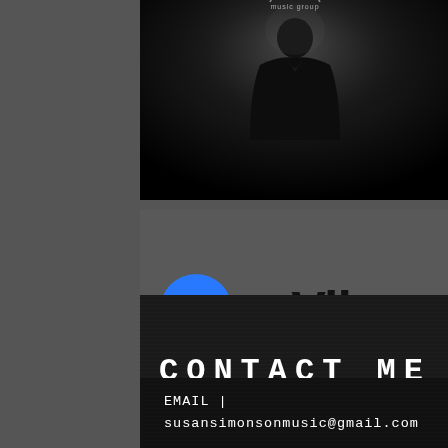[Figure (photo): Dark silhouette of a person in black clothing against a dark background, with a circular logo/text 'music group' partially visible at the top]
[Figure (logo): mVibe logo: blue circle with stylized M/headphone icon, followed by the text 'mVibe' in bold dark font, on a dark gray background]
CONTACT ME
EMAIL | susansimonsonmusic@gmail.com